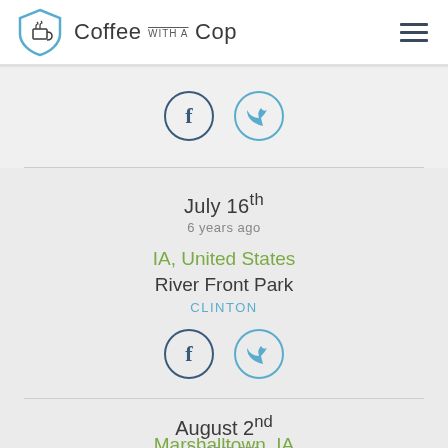Coffee with a Cop
[Figure (logo): Coffee with a Cop logo with shield icon and hamburger menu]
[Figure (other): Facebook and Twitter share icons (top)]
July 16th
6 years ago
IA, United States
River Front Park
CLINTON
[Figure (other): Facebook and Twitter share icons (bottom of first event)]
August 2nd
6 years ago
Marshalltown, IA